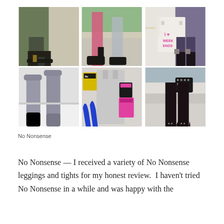[Figure (photo): 6-photo collage grid showing fashion/legwear scenes: row 1: dark green jeans with black ankle boot, pink tights with black flats on steps, white tote bag reading 'i LOVE WEEK ENDS' with dark tights and boots; row 2: grey knee-high socks on bed, flat lay of silver dress with blue heels and No Nonsense packages, black tights with studded heels on steps]
No Nonsense
No Nonsense — I received a variety of No Nonsense leggings and tights for my honest review.  I haven't tried No Nonsense in a while and was happy with the